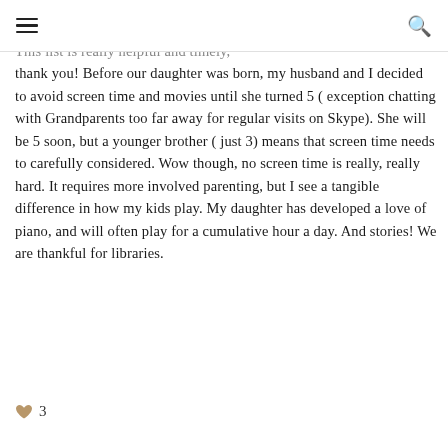[hamburger menu] [search icon]
This list is really helpful and timely, thank you! Before our daughter was born, my husband and I decided to avoid screen time and movies until she turned 5 ( exception chatting with Grandparents too far away for regular visits on Skype). She will be 5 soon, but a younger brother ( just 3) means that screen time needs to carefully considered. Wow though, no screen time is really, really hard. It requires more involved parenting, but I see a tangible difference in how my kids play. My daughter has developed a love of piano, and will often play for a cumulative hour a day. And stories! We are thankful for libraries.
❤ 3